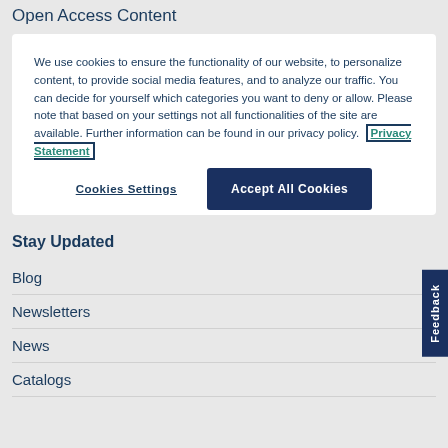Open Access Content
We use cookies to ensure the functionality of our website, to personalize content, to provide social media features, and to analyze our traffic. You can decide for yourself which categories you want to deny or allow. Please note that based on your settings not all functionalities of the site are available. Further information can be found in our privacy policy. Privacy Statement
Cookies Settings
Accept All Cookies
Stay Updated
Blog
Newsletters
News
Catalogs